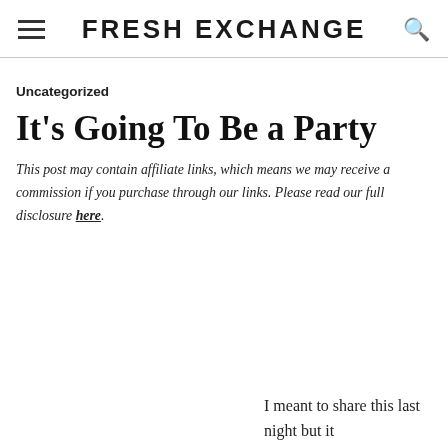FRESH EXCHANGE
Uncategorized
It’s Going To Be a Party
This post may contain affiliate links, which means we may receive a commission if you purchase through our links. Please read our full disclosure here.
I meant to share this last night but it